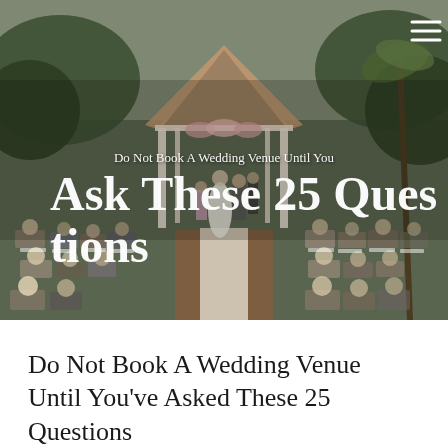[Figure (photo): Outdoor wedding ceremony at a gazebo with guests seated in white chairs on both sides of an aisle. Bride and groom standing under a decorated gazebo surrounded by trees and palm trees. Overlaid text reads 'Do Not Book A Wedding Venue Until You' and 'Ask These 25 Questions' in large white serif font.]
Do Not Book A Wedding Venue Until You've Asked These 25 Questions
8/21/2019